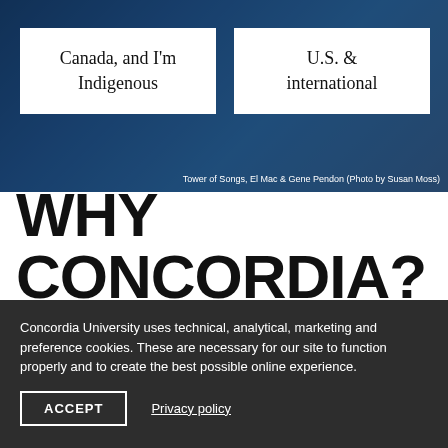[Figure (photo): Dark blue-tinted urban photograph background with city skyline (Tower of Songs mural by El Mac & Gene Pendon), photo credit Susan Moss]
Canada, and I'm Indigenous
U.S. & international
Tower of Songs, El Mac & Gene Pendon (Photo by Susan Moss)
WHY CONCORDIA?
Concordia University uses technical, analytical, marketing and preference cookies. These are necessary for our site to function properly and to create the best possible online experience.
ACCEPT
Privacy policy